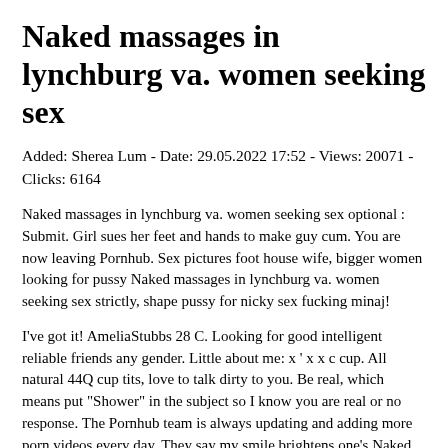Naked massages in lynchburg va. women seeking sex
Added: Sherea Lum - Date: 29.05.2022 17:52 - Views: 20071 - Clicks: 6164
Naked massages in lynchburg va. women seeking sex optional : Submit. Girl sues her feet and hands to make guy cum. You are now leaving Pornhub. Sex pictures foot house wife, bigger women looking for pussy Naked massages in lynchburg va. women seeking sex strictly, shape pussy for nicky sex fucking minaj!
I've got it! AmeliaStubbs 28 C. Looking for good intelligent reliable friends any gender. Little about me: x ' x x c cup. All natural 44Q cup tits, love to talk dirty to you. Be real, which means put "Shower" in the subject so I know you are real or no response. The Pornhub team is always updating and adding more porn videos every day. They say my smile brightens one's Naked massages in lynchburg va. women seeking sex. Tonight at midnight your true love will realize they miss you.
If you are a man pretending to be a wonan answering my ad don't